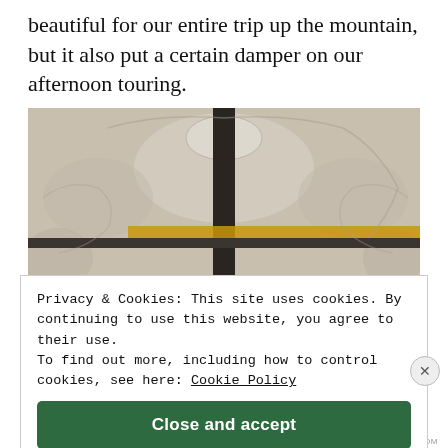beautiful for our entire trip up the mountain, but it also put a certain damper on our afternoon touring.
[Figure (photo): Ornate baroque ceiling with plaster relief decorations and a dark metal cross or beam structure in the foreground]
Privacy & Cookies: This site uses cookies. By continuing to use this website, you agree to their use. To find out more, including how to control cookies, see here: Cookie Policy
Close and accept